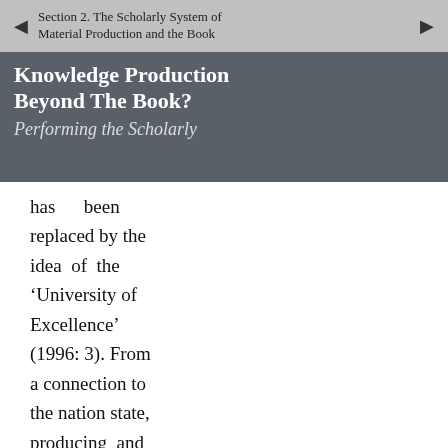Section 2. The Scholarly System of Material Production and the Book
Knowledge Production Beyond The Book?
Performing the Scholarly
has been replaced by the idea of the ‘University of Excellence’ (1996: 3). From a connection to the nation state, producing and sustaining an idea of national culture, it has become a transnational bureaucratic
About
Contents
Acknowledgements
Introduction
Chapter 1. Theoretical Framework and Methodology
1.1 Theoretical Framework
1.2 Methodology: Theoretical